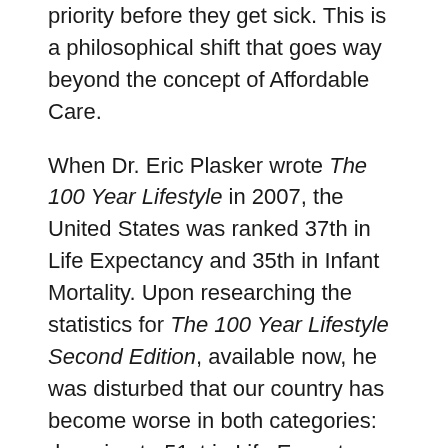priority before they get sick. This is a philosophical shift that goes way beyond the concept of Affordable Care.
When Dr. Eric Plasker wrote The 100 Year Lifestyle in 2007, the United States was ranked 37th in Life Expectancy and 35th in Infant Mortality. Upon researching the statistics for The 100 Year Lifestyle Second Edition, available now, he was disturbed that our country has become worse in both categories: dropping to 51st in Life Expectancy and 44th in Infant Mortality.
While quality medical care may be necessary when there is disease or a severe accident, Health Care is different. Health Care is about keeping your body,